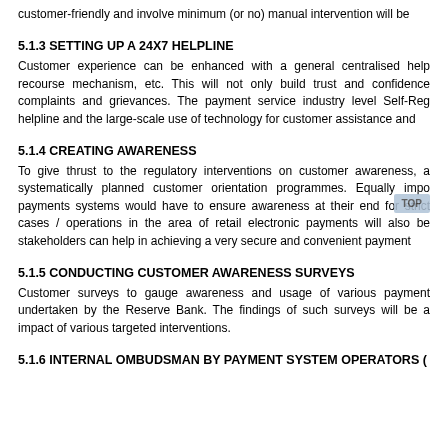customer-friendly and involve minimum (or no) manual intervention will be
5.1.3 SETTING UP A 24X7 HELPLINE
Customer experience can be enhanced with a general centralised help recourse mechanism, etc. This will not only build trust and confidence complaints and grievances. The payment service industry level Self-Reg helpline and the large-scale use of technology for customer assistance and
5.1.4 CREATING AWARENESS
To give thrust to the regulatory interventions on customer awareness, a systematically planned customer orientation programmes. Equally impo payments systems would have to ensure awareness at their end for strict cases / operations in the area of retail electronic payments will also be stakeholders can help in achieving a very secure and convenient payment
5.1.5 CONDUCTING CUSTOMER AWARENESS SURVEYS
Customer surveys to gauge awareness and usage of various payment undertaken by the Reserve Bank. The findings of such surveys will be a impact of various targeted interventions.
5.1.6 INTERNAL OMBUDSMAN BY PAYMENT SYSTEM OPERATORS (